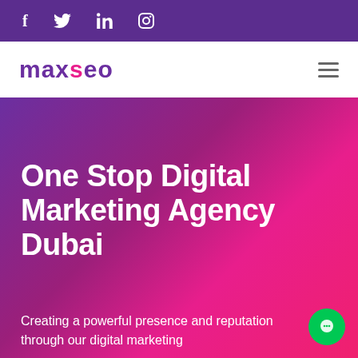f  tw  in  instagram — social media icons bar
[Figure (logo): MaxSEO logo with purple and pink text, hamburger menu icon]
One Stop Digital Marketing Agency Dubai
Creating a powerful presence and reputation through our digital marketing